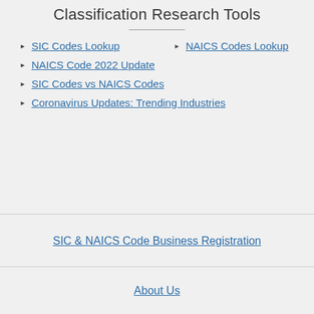Classification Research Tools
SIC Codes Lookup
NAICS Codes Lookup
NAICS Code 2022 Update
SIC Codes vs NAICS Codes
Coronavirus Updates: Trending Industries
SIC & NAICS Code Business Registration
About Us